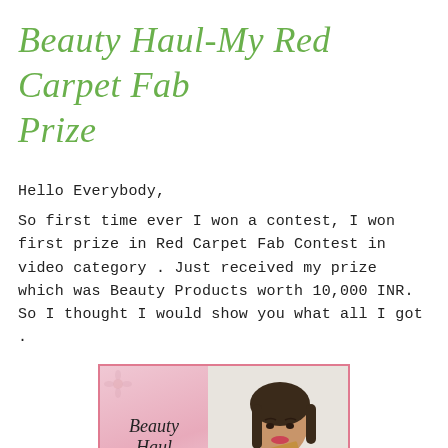Beauty Haul-My Red Carpet Fab Prize
Hello Everybody,
So first time ever I won a contest, I won first prize in Red Carpet Fab Contest in video category . Just received my prize which was Beauty Products worth 10,000 INR. So I thought I would show you what all I got .
[Figure (photo): Video thumbnail showing a woman holding an open cardboard box with beauty products, next to a pink floral card that reads 'Beauty Haul My Red Carpet Fab Prize']